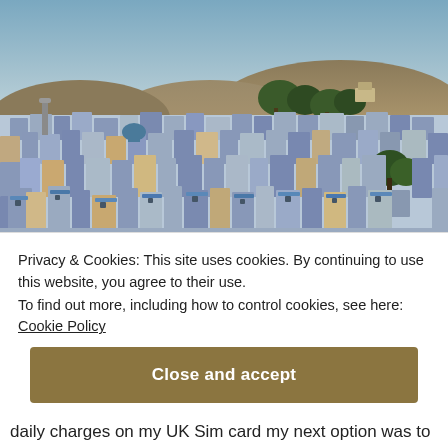[Figure (photo): Aerial view of Jodhpur, the Blue City of India, showing dense blue and white buildings spread across a hillside with trees and rocky hills in the background under a hazy sky.]
Privacy & Cookies: This site uses cookies. By continuing to use this website, you agree to their use.
To find out more, including how to control cookies, see here: Cookie Policy
Close and accept
daily charges on my UK Sim card my next option was to